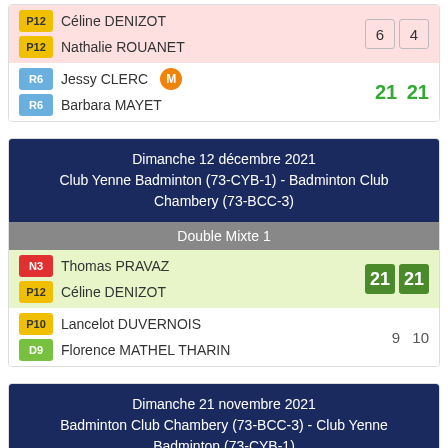| P12 | Céline DENIZOT | 6 | 4 |
| P12 | Nathalie ROUANET |  |  |
| R6 | Jessy CLERC [M] | 21 | 21 |
| R6 | Barbara MAYET |  |  |
Dimanche 12 décembre 2021
Club Yenne Badminton (73-CYB-1) - Badminton Club Chambery (73-BCC-3)
Double Mixte 1
| N3 | Thomas PRAVAZ | 21 | 21 |
| P12 | Céline DENIZOT |  |  |
| P10 | Lancelot DUVERNOIS | 9 | 10 |
| D9 | Florence MATHEL THARIN |  |  |
Dimanche 21 novembre 2021
Badminton Club Chambery (73-BCC-3) - Club Yenne Badminton (73-CYB-1)